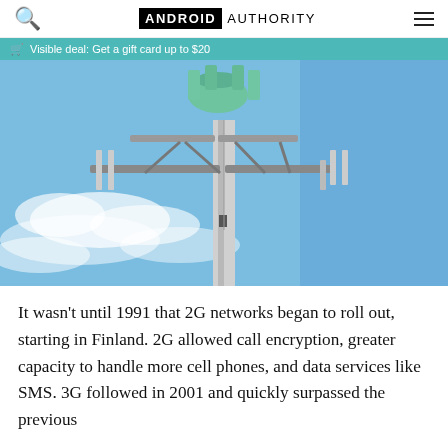ANDROID AUTHORITY
Visible deal: Get a gift card up to $20
[Figure (photo): Cell tower against a blue sky with clouds, featuring green antenna equipment at the top and multiple antennae arrays mounted on cross-arms.]
It wasn't until 1991 that 2G networks began to roll out, starting in Finland. 2G allowed call encryption, greater capacity to handle more cell phones, and data services like SMS. 3G followed in 2001 and quickly surpassed the previous